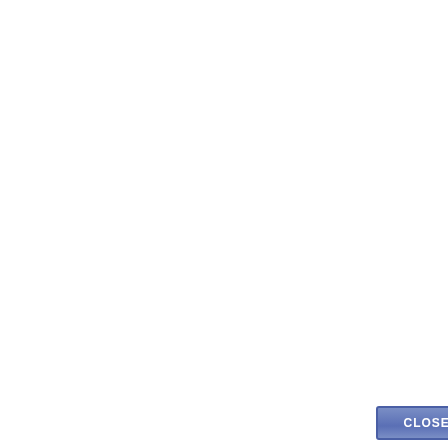[Figure (screenshot): A blue CLOSED button/badge with a handle on the right side, styled like a forum thread status indicator]
|  |  |
| --- | --- |
| 10-12-2009, 10:37 AM |  |
| aracthabar
New Member

Join Date:
Oct 2009 | User continuously g

Hello,
We have a user who was
she upgraded her service
decided not to use BES |